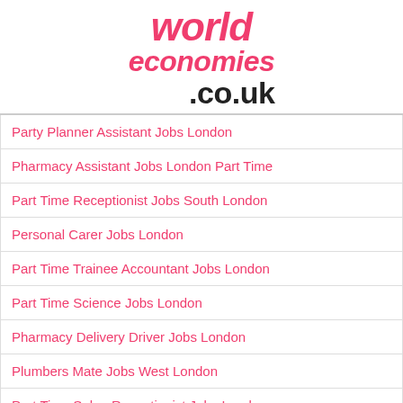[Figure (logo): worldeconomies.co.uk logo in pink and black]
Party Planner Assistant Jobs London
Pharmacy Assistant Jobs London Part Time
Part Time Receptionist Jobs South London
Personal Carer Jobs London
Part Time Trainee Accountant Jobs London
Part Time Science Jobs London
Pharmacy Delivery Driver Jobs London
Plumbers Mate Jobs West London
Part Time Salon Receptionist Jobs London
Pharmacovigilance Jobs London